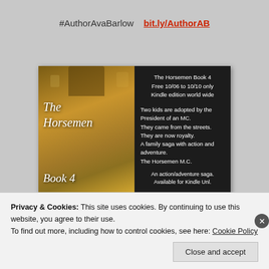#AuthorAvaBarlow   bit.ly/AuthorAB
[Figure (illustration): Book cover for 'The Horsemen Book 4' by Ava Barlow — left half shows a golden stone castle tower, right half is a dark panel with book info text. Title 'The Horsemen' and 'Book 4' and 'Ava Barlow' appear in italic white script on the castle image. The dark panel reads: 'The Horsemen Book 4 / Free 10/06 to 10/10 only / Kindle edition world wide // Two kids are adopted by the President of an MC. / They came from the streets. / They are now royalty. / A family saga with action and adventure. / The Horsemen M.C. // An action/adventure saga. / Available for Kindle Unl. // AVA BARLOW / bit.ly/THM4kd']
Privacy & Cookies: This site uses cookies. By continuing to use this website, you agree to their use.
To find out more, including how to control cookies, see here: Cookie Policy
Close and accept